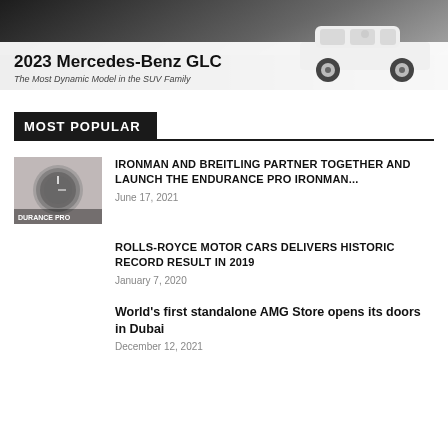[Figure (photo): Advertisement banner for 2023 Mercedes-Benz GLC with text '2023 Mercedes-Benz GLC' and subtitle 'The Most Dynamic Model in the SUV Family']
MOST POPULAR
[Figure (photo): Thumbnail showing a Breitling Endurance Pro Ironman watch face]
IRONMAN AND BREITLING PARTNER TOGETHER AND LAUNCH THE ENDURANCE PRO IRONMAN...
June 17, 2021
ROLLS-ROYCE MOTOR CARS DELIVERS HISTORIC RECORD RESULT IN 2019
January 7, 2020
World's first standalone AMG Store opens its doors in Dubai
December 12, 2021